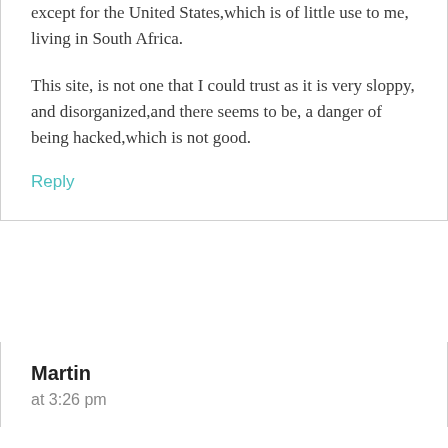except for the United States,which is of little use to me, living in South Africa.
This site, is not one that I could trust as it is very sloppy, and disorganized,and there seems to be, a danger of being hacked,which is not good.
Reply
Martin
at 3:26 pm